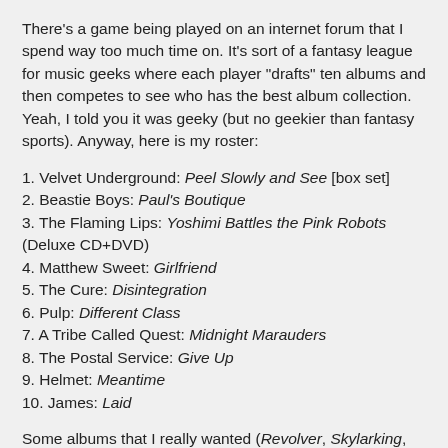There's a game being played on an internet forum that I spend way too much time on. It's sort of a fantasy league for music geeks where each player "drafts" ten albums and then competes to see who has the best album collection. Yeah, I told you it was geeky (but no geekier than fantasy sports). Anyway, here is my roster:
1. Velvet Underground: Peel Slowly and See [box set]
2. Beastie Boys: Paul's Boutique
3. The Flaming Lips: Yoshimi Battles the Pink Robots (Deluxe CD+DVD)
4. Matthew Sweet: Girlfriend
5. The Cure: Disintegration
6. Pulp: Different Class
7. A Tribe Called Quest: Midnight Marauders
8. The Postal Service: Give Up
9. Helmet: Meantime
10. James: Laid
Some albums that I really wanted (Revolver, Skylarking, Stone Roses' debut, etc.) were drafted before I could pick